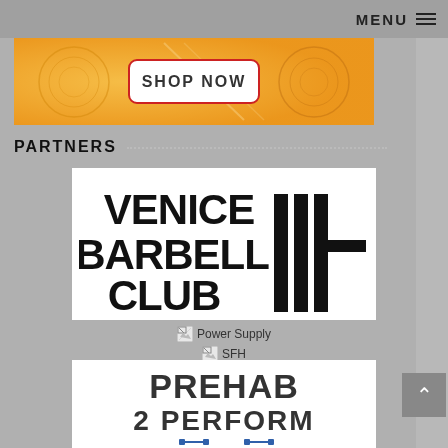MENU
[Figure (other): Orange/gold decorative ad banner with 'SHOP NOW' button in white rounded rectangle with red border]
PARTNERS
[Figure (logo): Venice Barbell Club logo — bold black text 'VENICE BARBELL CLUB' with stylized barbell plate graphic (vertical bars and horizontal bar)]
[Figure (other): Broken image link icon for 'Power Supply']
[Figure (other): Broken image link icon for 'SFH']
[Figure (logo): Prehab 2 Perform logo — bold dark text 'PREHAB 2 PERFORM' with blue barbell/kettlebell graphic below]